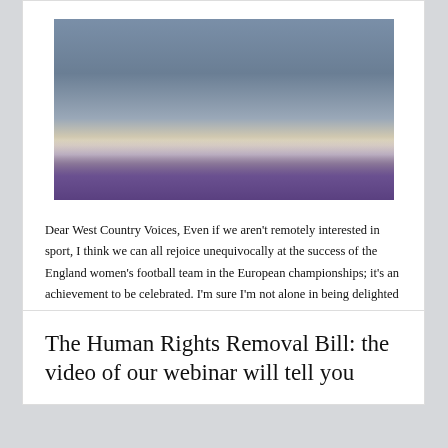[Figure (photo): Group photo of England women's football team posing on a podium with medals after winning the European Championships]
Dear West Country Voices, Even if we aren't remotely interested in sport, I think we can all rejoice unequivocally at the success of the England women's football team in the European championships; it's an achievement to be celebrated. I'm sure I'm not alone in being delighted at their win if only because they have done [...]
The Human Rights Removal Bill: the video of our webinar will tell you